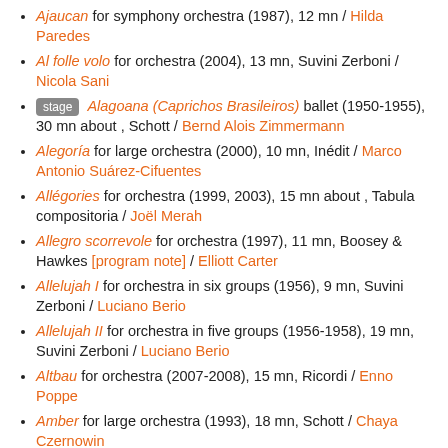Ajaucan for symphony orchestra (1987), 12 mn / Hilda Paredes
Al folle volo for orchestra (2004), 13 mn, Suvini Zerboni / Nicola Sani
[stage] Alagoana (Caprichos Brasileiros) ballet (1950-1955), 30 mn about , Schott / Bernd Alois Zimmermann
Alegoría for large orchestra (2000), 10 mn, Inédit / Marco Antonio Suárez-Cifuentes
Allégories for orchestra (1999, 2003), 15 mn about , Tabula compositoria / Joël Merah
Allegro scorrevole for orchestra (1997), 11 mn, Boosey & Hawkes [program note] / Elliott Carter
Allelujah I for orchestra in six groups (1956), 9 mn, Suvini Zerboni / Luciano Berio
Allelujah II for orchestra in five groups (1956-1958), 19 mn, Suvini Zerboni / Luciano Berio
Altbau for orchestra (2007-2008), 15 mn, Ricordi / Enno Poppe
Amber for large orchestra (1993), 18 mn, Schott / Chaya Czernowin
Amériques for large orchestra (1991, 1918-1922, 1929), 25 mn 35 s, Ricordi / Edgard Varèse